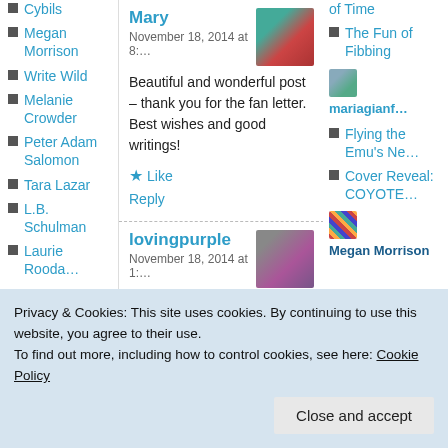Cybils
Megan Morrison
Write Wild
Melanie Crowder
Peter Adam Salomon
Tara Lazar
L.B. Schulman
Laurie Rooda…
Mary
November 18, 2014 at 8:…
Beautiful and wonderful post – thank you for the fan letter. Best wishes and good writings!
Like
Reply
lovingpurple
November 18, 2014 at 1:…
of Time
The Fun of Fibbing
mariagianf…
Flying the Emu's Ne…
Cover Reveal: COYOTE…
Megan Morrison
Privacy & Cookies: This site uses cookies. By continuing to use this website, you agree to their use.
To find out more, including how to control cookies, see here: Cookie Policy
Close and accept